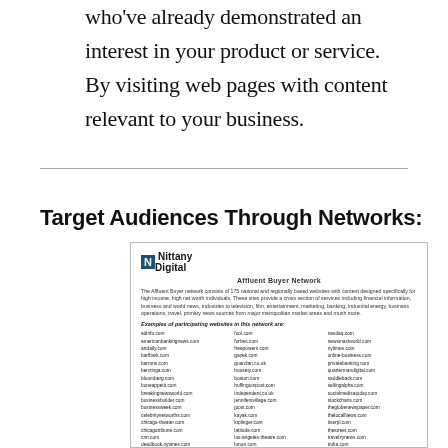who've already demonstrated an interest in your product or service. By visiting web pages with content relevant to your business.
Target Audiences Through Networks:
[Figure (screenshot): Screenshot of a Nittany Digital Affluent Buyer Network document listing participating websites in a three-column grid layout.]